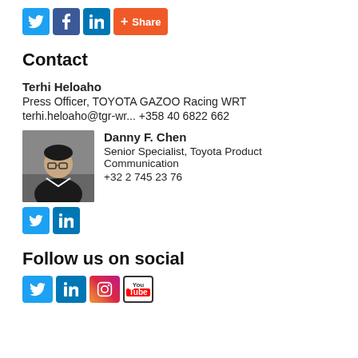[Figure (other): Social sharing icons: Twitter, Facebook, LinkedIn, and a Share button]
Contact
Terhi Heloaho
Press Officer, TOYOTA GAZOO Racing WRT
terhi.heloaho@tgr-wr... +358 40 6822 662
[Figure (photo): Photo of Danny F. Chen]
Danny F. Chen
Senior Specialist, Toyota Product Communication
+32 2 745 23 76
[Figure (other): Social icons for Danny: Twitter and LinkedIn]
Follow us on social
[Figure (other): Social follow icons: Twitter, LinkedIn, Instagram, YouTube]